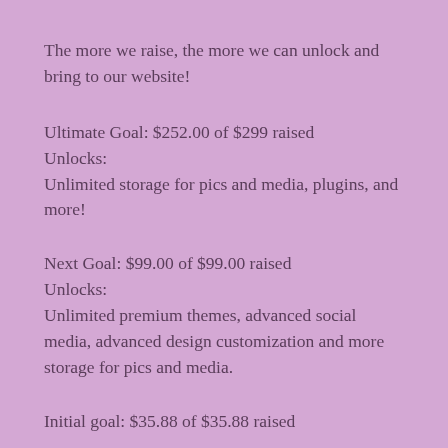The more we raise, the more we can unlock and bring to our website!
Ultimate Goal: $252.00 of $299 raised
Unlocks:
Unlimited storage for pics and media, plugins, and more!
Next Goal: $99.00 of $99.00 raised
Unlocks:
Unlimited premium themes, advanced social media, advanced design customization and more storage for pics and media.
Initial goal: $35.88 of $35.88 raised